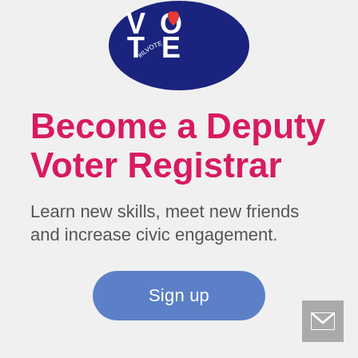[Figure (logo): Circular dark blue badge with 'VOTE' in large white letters, red heart icon above, '#ILVOTE INDIVISIBLE ILLINOIS' text curved along the bottom]
Become a Deputy Voter Registrar
Learn new skills, meet new friends and increase civic engagement.
[Figure (infographic): Blue rounded rectangle button with white text 'Sign up']